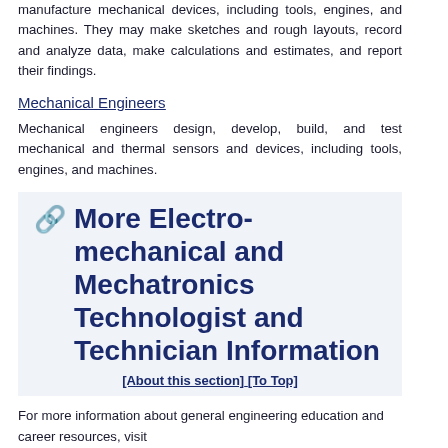manufacture mechanical devices, including tools, engines, and machines. They may make sketches and rough layouts, record and analyze data, make calculations and estimates, and report their findings.
Mechanical Engineers
Mechanical engineers design, develop, build, and test mechanical and thermal sensors and devices, including tools, engines, and machines.
🔗 More Electro-mechanical and Mechatronics Technologist and Technician Information
[About this section] [To Top]
For more information about general engineering education and career resources, visit